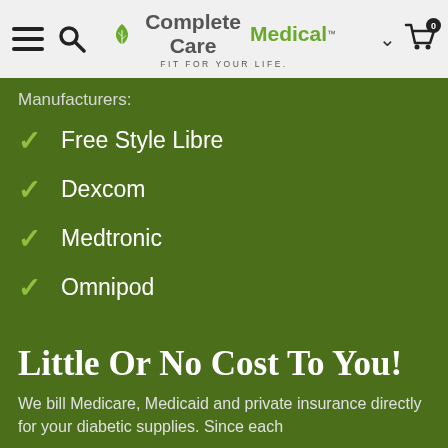Complete Care Medical — FIT FOR YOUR LIFE.
Manufacturers:
Free Style Libre
Dexcom
Medtronic
Omnipod
Little Or No Cost To You!
We bill Medicare, Medicaid and private insurance directly for your diabetic supplies. Since each